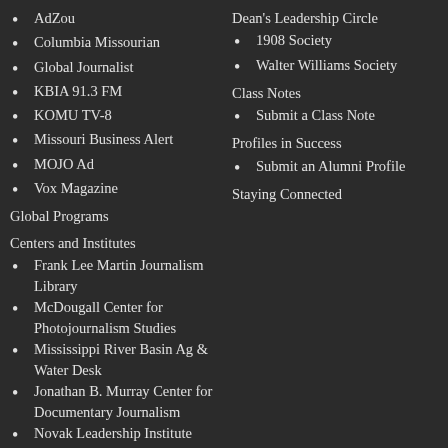AdZou
Columbia Missourian
Global Journalist
KBIA 91.3 FM
KOMU TV-8
Missouri Business Alert
MOJO Ad
Vox Magazine
Global Programs
Centers and Institutes
Frank Lee Martin Journalism Library
McDougall Center for Photojournalism Studies
Mississippi River Basin Ag & Water Desk
Jonathan B. Murray Center for Documentary Journalism
Novak Leadership Institute
Dean's Leadership Circle
1908 Society
Walter Williams Society
Class Notes
Submit a Class Note
Profiles in Success
Submit an Alumni Profile
Staying Connected